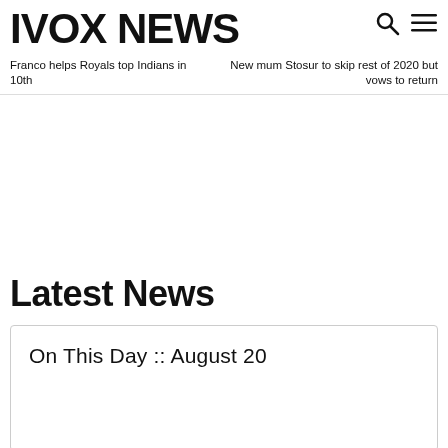IVOX NEWS
Franco helps Royals top Indians in 10th
New mum Stosur to skip rest of 2020 but vows to return
Latest News
On This Day :: August 20